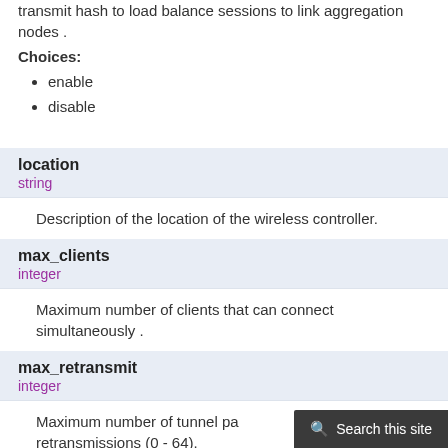transmit hash to load balance sessions to link aggregation nodes .
Choices:
enable
disable
location
string
Description of the location of the wireless controller.
max_clients
integer
Maximum number of clients that can connect simultaneously .
max_retransmit
integer
Maximum number of tunnel packet retransmissions (0 - 64).